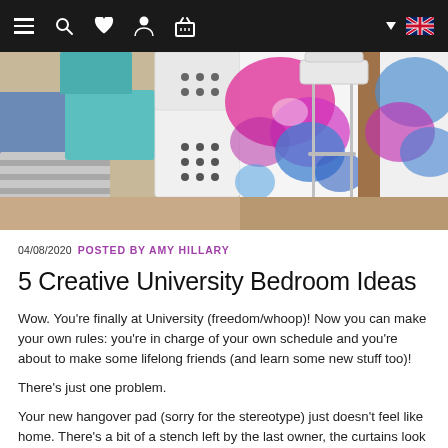Navigation bar with hamburger menu, search, heart, profile, basket icons and UK flag
[Figure (photo): University bedroom with teal and white storage boxes stacked, colourful tie-dye artwork in background, a metal chair and wooden shelving unit]
04/08/2020  POSTED BY AMY HILLARY
5 Creative University Bedroom Ideas
Wow. You’re finally at University (freedom/whoop)! Now you can make your own rules: you’re in charge of your own schedule and you’re about to make some lifelong friends (and learn some new stuff too)!
There’s just one problem.
Your new hangover pad (sorry for the stereotype) just doesn’t feel like home. There’s a bit of a stench left by the last owner, the curtains look like they’ve travelled in a time machine from 1985